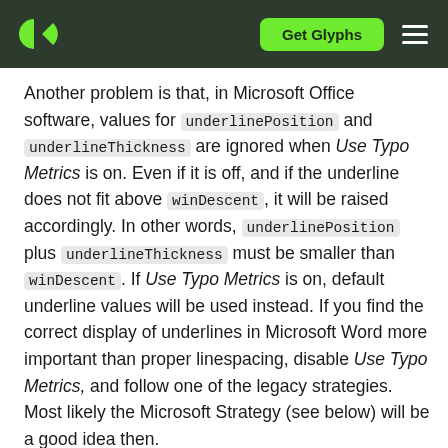Get Glyphs [navigation header with logo]
Another problem is that, in Microsoft Office software, values for underlinePosition and underlineThickness are ignored when Use Typo Metrics is on. Even if it is off, and if the underline does not fit above winDescent, it will be raised accordingly. In other words, underlinePosition plus underlineThickness must be smaller than winDescent. If Use Typo Metrics is on, default underline values will be used instead. If you find the correct display of underlines in Microsoft Word more important than proper linespacing, disable Use Typo Metrics, and follow one of the legacy strategies. Most likely the Microsoft Strategy (see below) will be a good idea then.